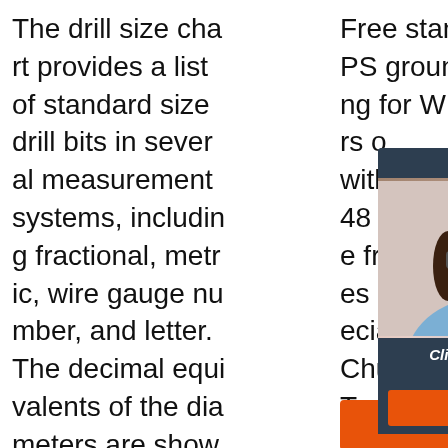The drill size chart provides a list of standard size drill bits in several measurement systems, including fractional, metric, wire gauge number, and letter. The decimal equivalents of the diameters are shown in both English and Metric units. Fractional sizes are measured in inches, while mo
Free standard UPS ground shipping for WEB orders o with 48 s e fr es r ecia Chu T p ord hipped first class.
[Figure (infographic): Customer service chat widget with 24/7 Online header, photo of woman with headset, 'Click here for free chat!' text, and QUOTATION button]
[Figure (infographic): TOP button with orange dots above and orange/dark text]
[Figure (infographic): Get Price orange button]